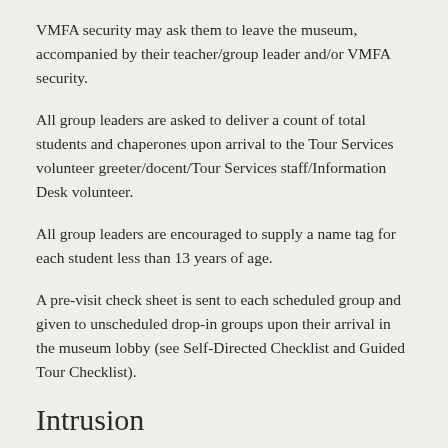VMFA security may ask them to leave the museum, accompanied by their teacher/group leader and/or VMFA security.
All group leaders are asked to deliver a count of total students and chaperones upon arrival to the Tour Services volunteer greeter/docent/Tour Services staff/Information Desk volunteer.
All group leaders are encouraged to supply a name tag for each student less than 13 years of age.
A pre-visit check sheet is sent to each scheduled group and given to unscheduled drop-in groups upon their arrival in the museum lobby (see Self-Directed Checklist and Guided Tour Checklist).
Intrusion
Security cameras monitor the entire facility seven days per week, 24 hours a day.